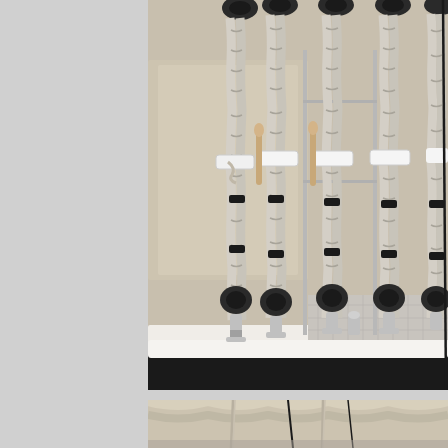[Figure (photo): Close-up photograph of sailing ship rigging showing multiple thick twisted white/cream ropes hanging vertically from pulleys (blocks) at the top, with metal shackles and fittings at the bottom attached to a white painted boat rail. White rectangular components (possibly cleats or fairleads) are visible mid-rope. Wooden belaying pins are visible between the ropes. A covered boat structure with beige canvas is visible in the background.]
[Figure (photo): Partial view of a second photograph showing beige/cream canvas sailcover or boat cover with vertical rope runs and black lines visible against the draped fabric.]